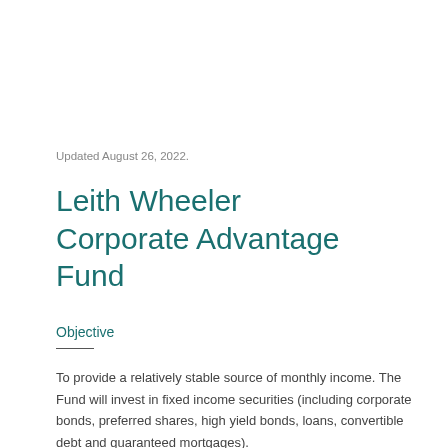Updated August 26, 2022.
Leith Wheeler Corporate Advantage Fund
Objective
To provide a relatively stable source of monthly income. The Fund will invest in fixed income securities (including corporate bonds, preferred shares, high yield bonds, loans, convertible debt and guaranteed mortgages).